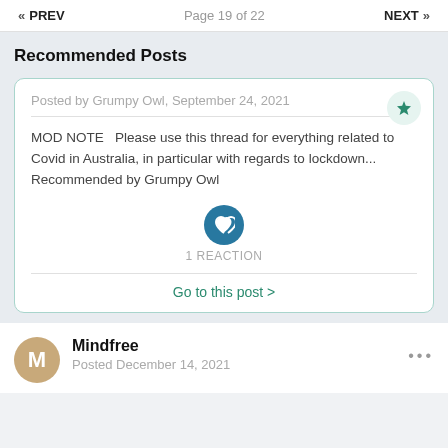« PREV   Page 19 of 22   NEXT »
Recommended Posts
Posted by Grumpy Owl, September 24, 2021
MOD NOTE   Please use this thread for everything related to Covid in Australia, in particular with regards to lockdown... Recommended by Grumpy Owl
1 REACTION
Go to this post >
Mindfree
Posted December 14, 2021